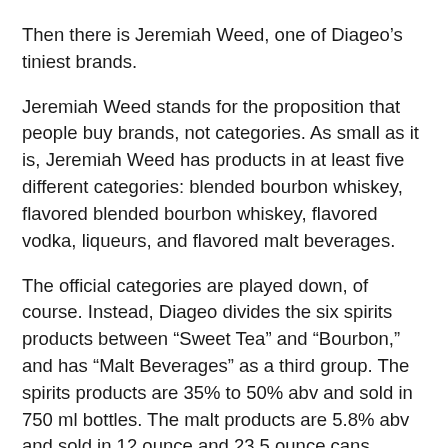Then there is Jeremiah Weed, one of Diageo's tiniest brands.
Jeremiah Weed stands for the proposition that people buy brands, not categories. As small as it is, Jeremiah Weed has products in at least five different categories: blended bourbon whiskey, flavored blended bourbon whiskey, flavored vodka, liqueurs, and flavored malt beverages.
The official categories are played down, of course. Instead, Diageo divides the six spirits products between “Sweet Tea” and “Bourbon,” and has “Malt Beverages” as a third group. The spirits products are 35% to 50% abv and sold in 750 ml bottles. The malt products are 5.8% abv and sold in 12 ounce and 23.5 ounce cans.
There are nine Weed products in five categories, but everything is sold using the image of the original product, a 50% abv bourbon-based liqueur created in the late 1960s to compete with Southern Comfort. Along the way, it developed cult status among American Air Force jet fighter pilots, a